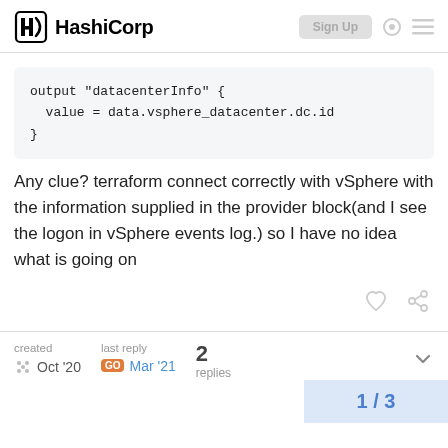HashiCorp
output "datacenterInfo" {
  value = data.vsphere_datacenter.dc.id
}
Any clue? terraform connect correctly with vSphere with the information supplied in the provider block(and I see the logon in vSphere events log.) so I have no idea what is going on
created Oct '20  last reply Mar '21  2 replies  1 / 3